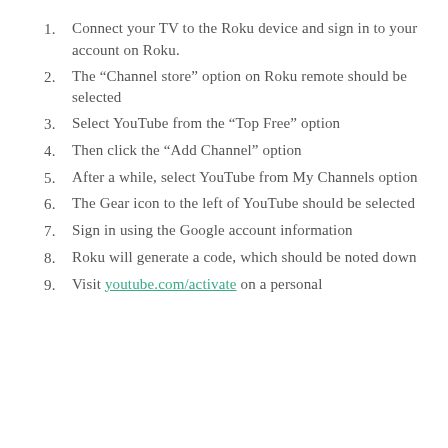Connect your TV to the Roku device and sign in to your account on Roku.
The “Channel store” option on Roku remote should be selected
Select YouTube from the “Top Free” option
Then click the “Add Channel” option
After a while, select YouTube from My Channels option
The Gear icon to the left of YouTube should be selected
Sign in using the Google account information
Roku will generate a code, which should be noted down
Visit youtube.com/activate on a personal